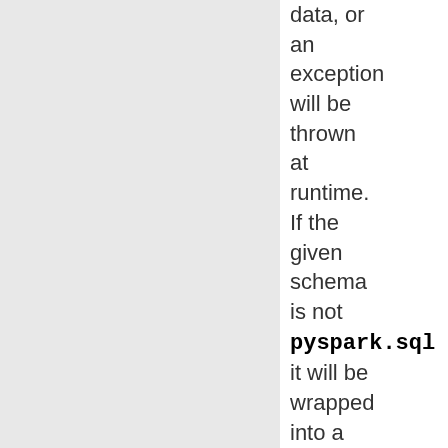data, or an exception will be thrown at runtime. If the given schema is not pyspark.sql it will be wrapped into a pyspark.sql as its only field, and the field